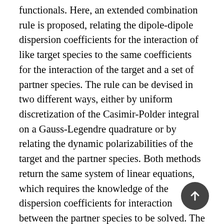functionals. Here, an extended combination rule is proposed, relating the dipole-dipole dispersion coefficients for the interaction of like target species to the same coefficients for the interaction of the target and a set of partner species. The rule can be devised in two different ways, either by uniform discretization of the Casimir-Polder integral on a Gauss-Legendre quadrature or by relating the dynamic polarizabilities of the target and the partner species. Both methods return the same system of linear equations, which requires the knowledge of the dispersion coefficients for interaction between the partner species to be solved. The test examples show a high accuracy for dispersion coefficients (better than 1% in the pristine test for the interaction of Yb atom with rare gases and alkaline-earth metal atoms). In contrast, the rule does not ensure correct monotonic behavior of the dynamic polarizabilities of the target species. A benchmark test